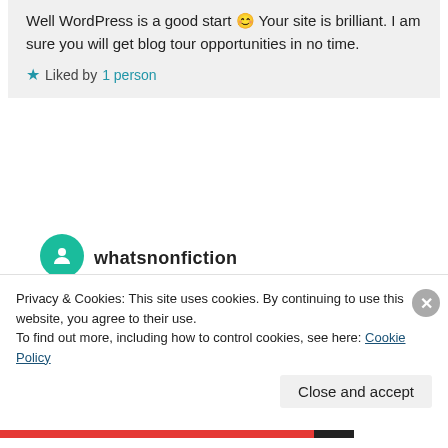Well WordPress is a good start 😊 Your site is brilliant. I am sure you will get blog tour opportunities in no time.
★ Liked by 1 person
whatsnonfiction
September 12, 2017 at 11:22 am
Thank you so much, that compliment made my day, especially coming from someone whose writing I so admire! Really means a lot to me!
Privacy & Cookies: This site uses cookies. By continuing to use this website, you agree to their use.
To find out more, including how to control cookies, see here: Cookie Policy